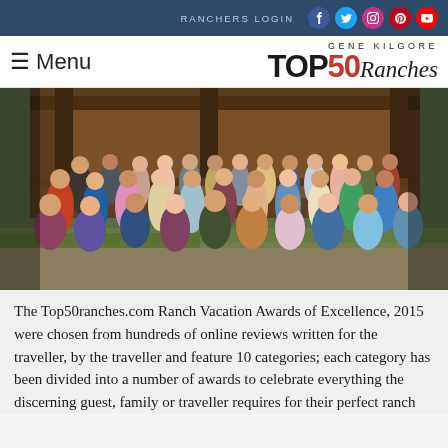RANCHERS LOGIN
GENE KILGORE TOP50Ranches
[Figure (photo): Large group photo of ranch staff and guests posing in front of a log cabin/ranch building, outdoors on grass and gravel.]
The Top50ranches.com Ranch Vacation Awards of Excellence, 2015 were chosen from hundreds of online reviews written for the traveller, by the traveller and feature 10 categories; each category has been divided into a number of awards to celebrate everything the discerning guest, family or traveller requires for their perfect ranch